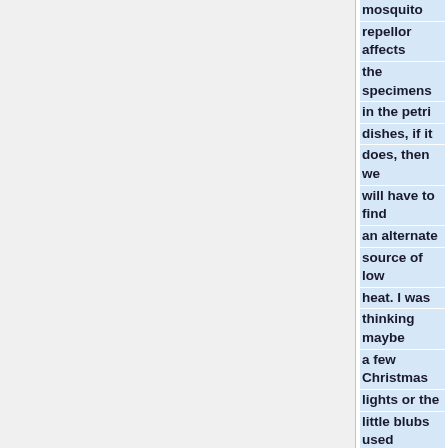mosquito repellor affects the specimens in the petri dishes, if it does, then we will have to find an alternate source of low heat. I was thinking maybe a few Christmas lights or the little blubs used in torches, I think they would provide enough heat and we we could just use batteries to power it; making it more